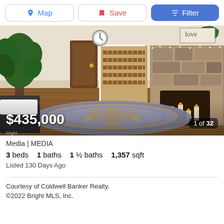[Figure (screenshot): Top navigation bar with Map, Save, and Filter buttons]
[Figure (photo): Interior living room photo showing hardwood floors, ornate rug, stone fireplace with candles, staircase, and large tropical plant. Price overlay shows $435,000 and photo count 1 of 32.]
Media | MEDIA
3 beds   1 baths   1 ½ baths   1,357 sqft
Listed 130 Days Ago
Courtesy of Coldwell Banker Realty.
©2022 Bright MLS, Inc.